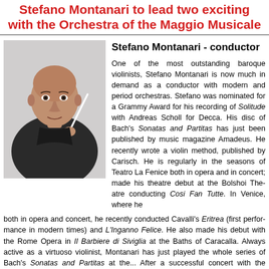Stefano Montanari to lead two exciting concerts with the Orchestra of the Maggio Musicale
[Figure (photo): Black and white photo of Stefano Montanari, a bald man in dark clothing holding a conductor's baton]
Stefano Montanari - conductor
One of the most outstanding baroque violinists, Stefano Montanari is now much in demand as a conductor with modern and period orchestras. Stefano was nominated for a Grammy Award for his recording of Solitude with Andreas Scholl for Decca. His disc of Bach's Sonatas and Partitas has just been published by music magazine Amadeus. He recently wrote a violin method, published by Carisch. He is regularly in the seasons of Teatro La Fenice both in opera and in concert; made his theatre debut at the Bolshoi Theatre conducting Cosi Fan Tutte. In Venice, where he is regular both in opera and concert, he recently conducted Cavalli's Eritrea (first performed in modern times) and L'Inganno Felice. He also made his debut with the Rome Opera in Il Barbiere di Siviglia at the Baths of Caracalla. Always active as a virtuoso violinist, Montanari has just played the whole series of Bach's Sonatas and Partitas at the... After a successful concert with the Orchestra del Maggio Musicale Fiorentino, he was reinvited to conduct Bach's B minor mass.
Future plans: several new projects at the Opéra de Lyon, where he is regularly invited; a production of Il Viaggio a Reims at the Nederlandse Opera in Amsterdam (c...); revival of Cosi fan tutte at the Bolshoi in Moscow; Il Barbiere di Siviglia at the Teatro... in Verona and Don Giovanni at the Arena; Orfeo ed Euridice at the...